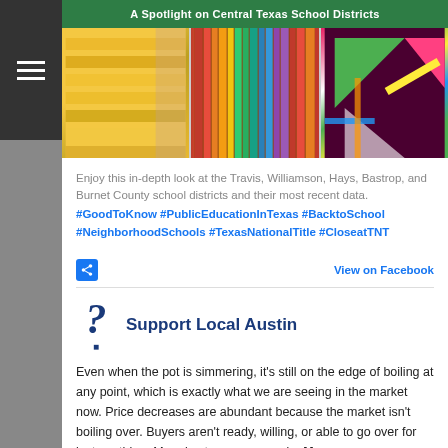[Figure (photo): Banner reading 'A Spotlight on Central Texas School Districts' in green, above a photo strip of three images: yellow pencils, colorful book spines, and geometric rulers/triangles.]
Enjoy this in-depth look at the Travis, Williamson, Hays, Bastrop, and Burnet County school districts and their most recent data. #GoodToKnow #PublicEducationInTexas #BacktoSchool #NeighborhoodSchools #TexasNationalTitle #CloseatTNT
View on Facebook
Support Local Austin
Even when the pot is simmering, it's still on the edge of boiling at any point, which is exactly what we are seeing in the market now. Price decreases are abundant because the market isn't boiling over. Buyers aren't ready, willing, or able to go over for just anything. More in store on our end... More